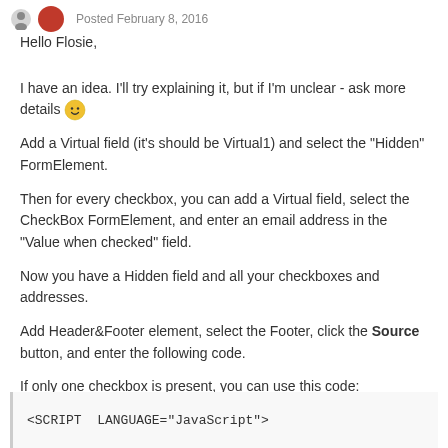Posted February 8, 2016
Hello Flosie,
I have an idea. I'll try explaining it, but if I'm unclear - ask more details 🙂
Add a Virtual field (it's should be Virtual1) and select the "Hidden" FormElement.
Then for every checkbox, you can add a Virtual field, select the CheckBox FormElement, and enter an email address in the "Value when checked" field.
Now you have a Hidden field and all your checkboxes and addresses.
Add Header&Footer element, select the Footer, click the Source button, and enter the following code.
If only one checkbox is present, you can use this code:
<SCRIPT LANGUAGE="JavaScript">